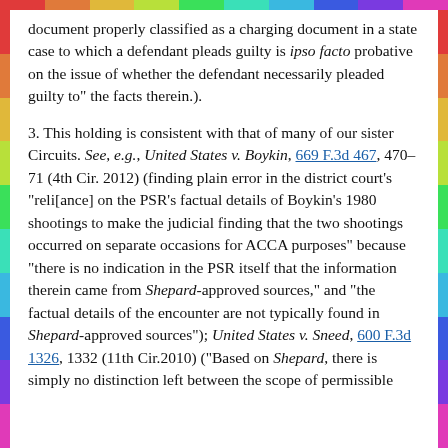document properly classified as a charging document in a state case to which a defendant pleads guilty is ipso facto probative on the issue of whether the defendant necessarily pleaded guilty to" the facts therein.).
3. This holding is consistent with that of many of our sister Circuits. See, e.g., United States v. Boykin, 669 F.3d 467, 470-71 (4th Cir. 2012) (finding plain error in the district court's "reli[ance] on the PSR's factual details of Boykin's 1980 shootings to make the judicial finding that the two shootings occurred on separate occasions for ACCA purposes" because "there is no indication in the PSR itself that the information therein came from Shepard-approved sources," and "the factual details of the encounter are not typically found in Shepard-approved sources"); United States v. Sneed, 600 F.3d 1326, 1332 (11th Cir.2010) ("Based on Shepard, there is simply no distinction left between the scope of permissible